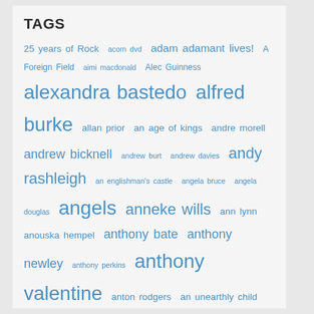TAGS
25 years of Rock acorn dvd adam adamant lives! A Foreign Field aimi macdonald Alec Guinness alexandra bastedo alfred burke allan prior an age of kings andre morell andrew bicknell andrew burt andrew davies andy rashleigh an englishman's castle angela bruce angela douglas angels anneke wills ann lynn anouska hempel anthony bate anthony newley anthony perkins anthony valentine anton rodgers an unearthly child are you being served arthur c. clarke's mysterious world ashley knight at last the 1948 show a very peculiar practice back to barbara flynn barbara shelley barry appleton barry letts barry lowe BBC bbc sitcoms ben stead bernard hepton bernard kay BFI bill strutton bird of prey blakes 7 blakes 40 bodyguards bonnie langford book reviews brian blessed brian croucher brian wilde cadfael callan carole ann ford caroline aherne caroline blakiston carolyn seymour celia imrie